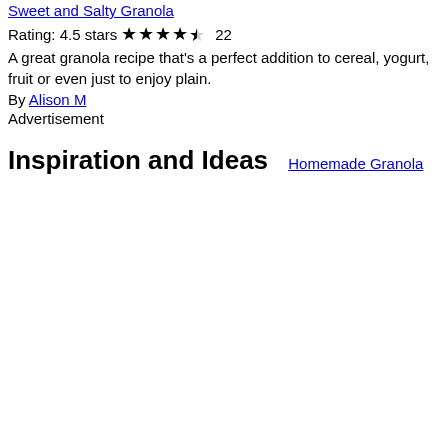Sweet and Salty Granola
Rating: 4.5 stars ★★★★½ 22
A great granola recipe that's a perfect addition to cereal, yogurt, fruit or even just to enjoy plain.
By Alison M
Advertisement
Inspiration and Ideas
Homemade Granola